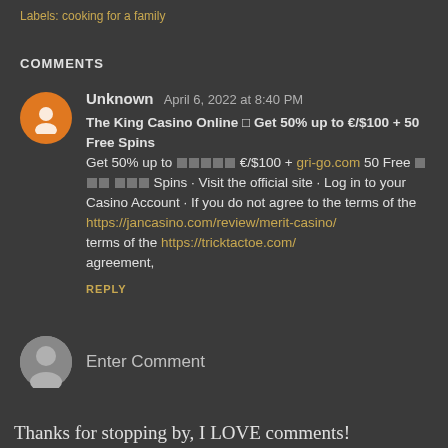Labels: cooking for a family
COMMENTS
Unknown  April 6, 2022 at 8:40 PM
The King Casino Online □ Get 50% up to €/$100 + 50 Free Spins
Get 50% up to □□□□□ €/$100 + gri-go.com 50 Free □□□ □□□ Spins · Visit the official site · Log in to your Casino Account · If you do not agree to the terms of the
https://jancasino.com/review/merit-casino/
terms of the https://tricktactoe.com/
agreement,
REPLY
Enter Comment
Thanks for stopping by, I LOVE comments!